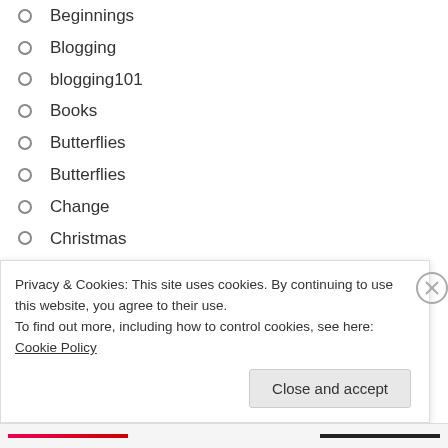Beginnings
Blogging
blogging101
Books
Butterflies
Butterflies
Change
Christmas
Clean Up
Colour
communication
Connectedness
Contrast
Privacy & Cookies: This site uses cookies. By continuing to use this website, you agree to their use.
To find out more, including how to control cookies, see here: Cookie Policy
Close and accept